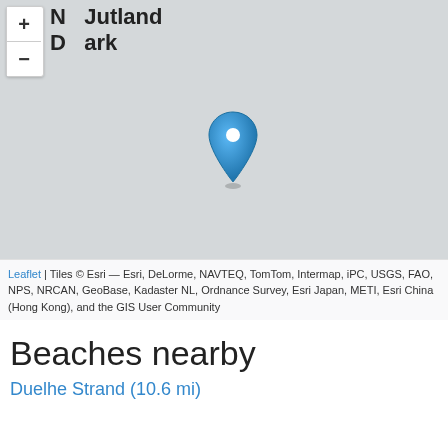[Figure (map): Interactive Leaflet map showing a location in North Jutland, Denmark. A blue map pin marker is placed roughly in the center of the map. Zoom in (+) and zoom out (-) controls are visible in the top-left corner. The map background is light gray (Esri tile layer).]
Leaflet | Tiles © Esri — Esri, DeLorme, NAVTEQ, TomTom, Intermap, iPC, USGS, FAO, NPS, NRCAN, GeoBase, Kadaster NL, Ordnance Survey, Esri Japan, METI, Esri China (Hong Kong), and the GIS User Community
Beaches nearby
Duelhe Strand (10.6 mi)